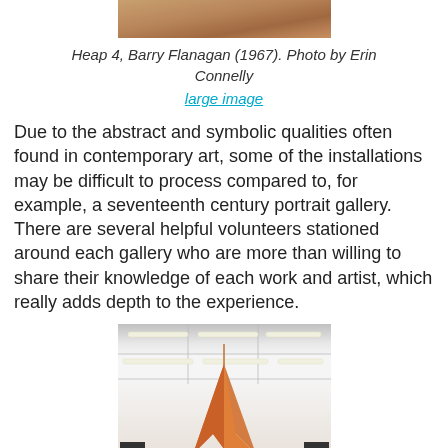[Figure (photo): Top portion of an artwork photo - Heap 4 by Barry Flanagan (1967), showing warm brown/orange tones at top of frame]
Heap 4, Barry Flanagan (1967). Photo by Erin Connelly
large image
Due to the abstract and symbolic qualities often found in contemporary art, some of the installations may be difficult to process compared to, for example, a seventeenth century portrait gallery. There are several helpful volunteers stationed around each gallery who are more than willing to share their knowledge of each work and artist, which really adds depth to the experience.
[Figure (photo): Interior gallery photo showing white walls, ceiling with linear fluorescent lights in a grid pattern, and an orange draped fabric sculpture hanging from the ceiling, with dark objects visible at the bottom corners]